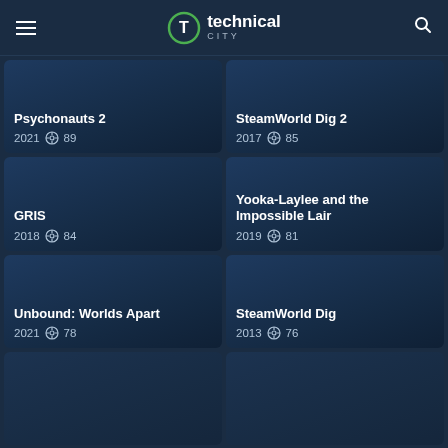technical city
Psychonauts 2 2021 89
SteamWorld Dig 2 2017 85
GRIS 2018 84
Yooka-Laylee and the Impossible Lair 2019 81
Unbound: Worlds Apart 2021 78
SteamWorld Dig 2013 76